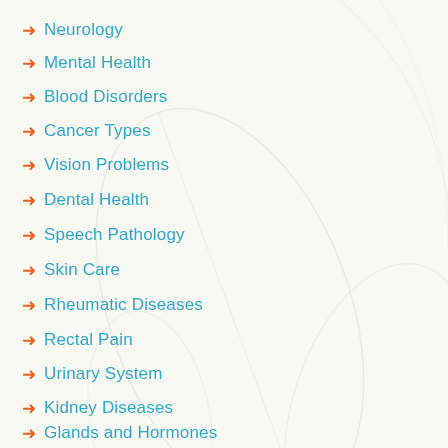Neurology
Mental Health
Blood Disorders
Cancer Types
Vision Problems
Dental Health
Speech Pathology
Skin Care
Rheumatic Diseases
Rectal Pain
Urinary System
Kidney Diseases
Glands and Hormones